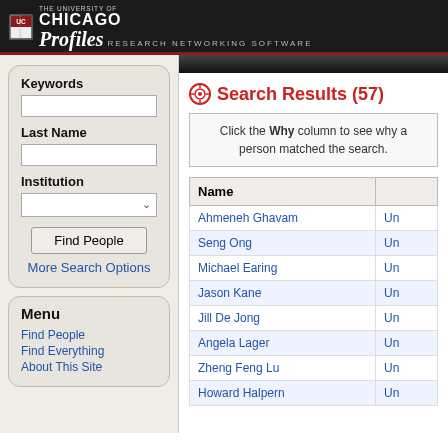The University of Chicago Profiles Research Networking Software
Keywords
Last Name
Institution
Menu
Find People
Find Everything
About This Site
Search Results (57)
Click the Why column to see why a person matched the search.
| Name |  |
| --- | --- |
| Ahmeneh Ghavam | Un |
| Seng Ong | Un |
| Michael Earing | Un |
| Jason Kane | Un |
| Jill De Jong | Un |
| Angela Lager | Un |
| Zheng Feng Lu | Un |
| Howard Halpern | Un |